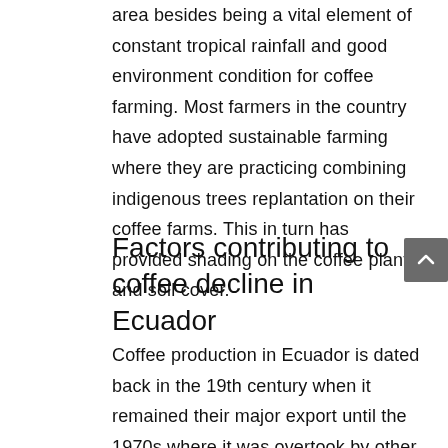area besides being a vital element of constant tropical rainfall and good environment condition for coffee farming. Most farmers in the country have adopted sustainable farming where they are practicing combining indigenous trees replantation on their coffee farms. This in turn has provided shading on the coffee plants and soil cover.
Factors contributing to coffee decline in Ecuador
Coffee production in Ecuador is dated back in the 19th century when it remained their major export until the 1970s where it was overtook by other products such as